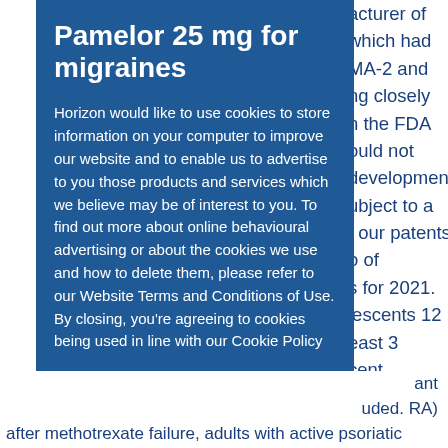acturer of which had MA-2 and ng closely n the FDA ould not development ubject to a t our patents o of s for 2021. lescents 12 east 3 cent r 65 years
Pamelor 25 mg for migraines
Horizon would like to use cookies to store information on your computer to improve our website and to enable us to advertise to you those products and services which we believe may be of interest to you. To find out more about online behavioural advertising or about the cookies we use and how to delete them, please refer to our Website Terms and Conditions of Use. By closing, you're agreeing to cookies being used in line with our Cookie Policy
Accept and Close
ant uded. RA) after methotrexate failure, adults with active psoriatic